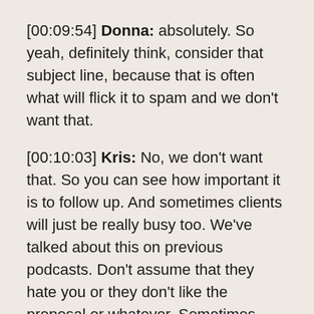[00:09:54] Donna: absolutely. So yeah, definitely think, consider that subject line, because that is often what will flick it to spam and we don't want that.
[00:10:03] Kris: No, we don't want that. So you can see how important it is to follow up. And sometimes clients will just be really busy too. We've talked about this on previous podcasts. Don't assume that they hate you or they don't like the proposal or whatever. Sometimes they have just